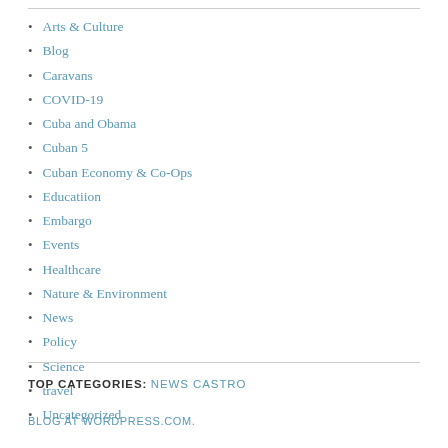Arts & Culture
Blog
Caravans
COVID-19
Cuba and Obama
Cuban 5
Cuban Economy & Co-Ops
Educatiion
Embargo
Events
Healthcare
Nature & Environment
News
Policy
Science
travel
Uncategorized
TOP CATEGORIES: NEWS CASTRO
BLOG AT WORDPRESS.COM.